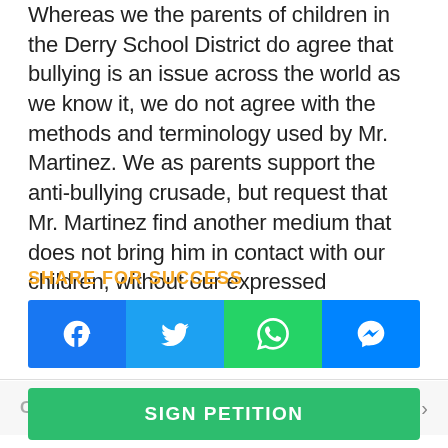Whereas we the parents of children in the Derry School District do agree that bullying is an issue across the world as we know it, we do not agree with the methods and terminology used by Mr. Martinez. We as parents support the anti-bullying crusade, but request that Mr. Martinez find another medium that does not bring him in contact with our children, without our expressed permission and presence.
SHARE FOR SUCCESS
[Figure (other): Social share buttons row: Facebook (blue), Twitter (light blue), WhatsApp (green), Messenger (blue)]
COMMENT
SIGN PETITION